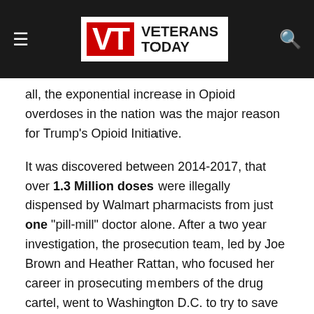VT VETERANS TODAY
all, the exponential increase in Opioid overdoses in the nation was the major reason for Trump's Opioid Initiative.
It was discovered between 2014-2017, that over 1.3 Million doses were illegally dispensed by Walmart pharmacists from just one "pill-mill" doctor alone. After a two year investigation, the prosecution team, led by Joe Brown and Heather Rattan, who focused her career in prosecuting members of the drug cartel, went to Washington D.C. to try to save their case.
First, they went to the DEA's headquarters and met with acting administrator, Uttam Dhillon and laid out their evidence against Walmart and the murders of many overdosed customers in Texas as a result. They presented evidence and explained they began getting pleas for help from Walmart